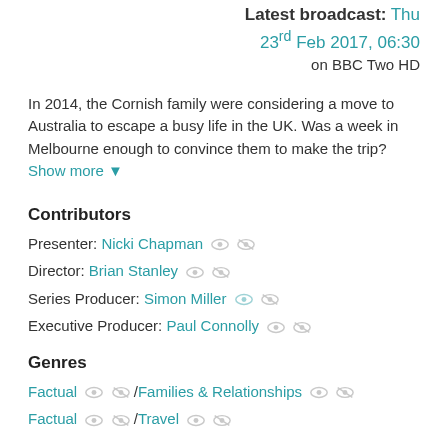Latest broadcast: Thu 23rd Feb 2017, 06:30 on BBC Two HD
In 2014, the Cornish family were considering a move to Australia to escape a busy life in the UK. Was a week in Melbourne enough to convince them to make the trip? Show more
Contributors
Presenter: Nicki Chapman
Director: Brian Stanley
Series Producer: Simon Miller
Executive Producer: Paul Connolly
Genres
Factual / Families & Relationships
Factual / Travel
Formats